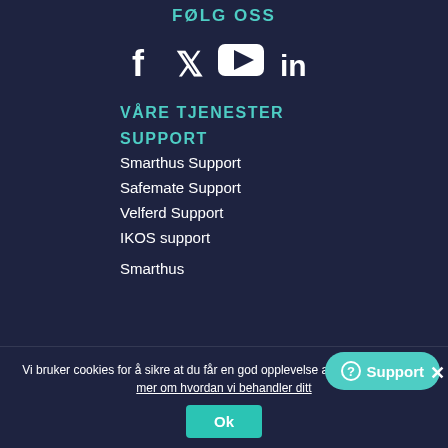FØLG OSS
[Figure (infographic): Social media icons: Facebook, Twitter, YouTube, LinkedIn]
VÅRE TJENESTER
SUPPORT
Smarthus Support
Safemate Support
Velferd Support
IKOS support
Smarthus
Vi bruker cookies for å sikre at du får en god opplevelse av vår nettside. Les mer om hvordan vi behandler ditt
Ok